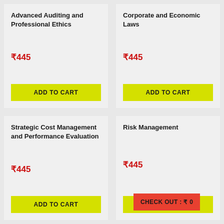Advanced Auditing and Professional Ethics
₹445
ADD TO CART
Corporate and Economic Laws
₹445
ADD TO CART
Strategic Cost Management and Performance Evaluation
₹445
ADD TO CART
Risk Management
₹445
CHECK OUT : ₹ 0
ADD TO CART